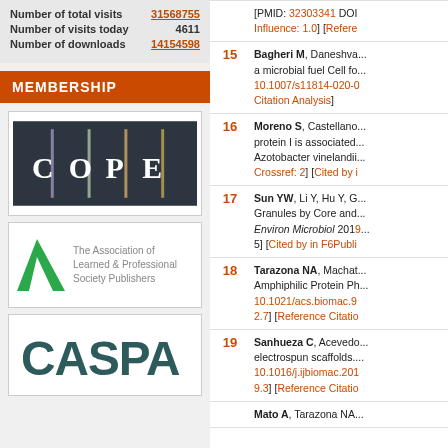|  | Stats |
| --- | --- |
| Number of total visits | 31568755 |
| Number of visits today | 4611 |
| Number of downloads | 14154598 |
MEMBERSHIP
[Figure (logo): COPE (Committee on Publication Ethics) logo — dark background with vertical colored bars and white letters C O P E]
[Figure (logo): The Association of Learned & Professional Society Publishers logo with green angular A shape]
[Figure (logo): CASPA logo in dark teal/green large block letters]
| # | Reference |
| --- | --- |
| 15 | Bagheri M, Daneshva... a microbial fuel Cell fo... 10.1007/s11814-020-0... Citation Analysis] |
| 16 | Moreno S, Castellano... protein I is associated... Azotobacter vinelandii... Crossref: 2] [Cited by i... |
| 17 | Sun YW, Li Y, Hu Y, G... Granules by Core and... Environ Microbiol 2019... 5] [Cited by in F6Publi... |
| 18 | Tarazona NA, Machat... Amphiphilic Protein Ph... 10.1021/acs.biomac.9... 2.7] [Reference Citatio... |
| 19 | Sanhueza C, Acevedo... electrospun scaffolds... 10.1016/j.ijbiomac.201... 9.3] [Reference Citatio... |
|  | Mato A, Tarazona NA... |